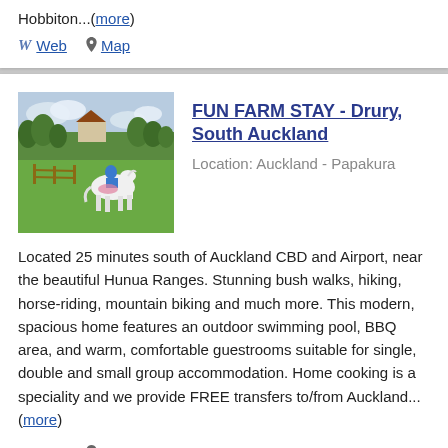Hobbiton...(more)
W Web  Map
FUN FARM STAY - Drury, South Auckland
Location: Auckland - Papakura
[Figure (photo): Person riding a white horse on a green farm field with trees in the background]
Located 25 minutes south of Auckland CBD and Airport, near the beautiful Hunua Ranges. Stunning bush walks, hiking, horse-riding, mountain biking and much more. This modern, spacious home features an outdoor swimming pool, BBQ area, and warm, comfortable guestrooms suitable for single, double and small group accommodation. Home cooking is a speciality and we provide FREE transfers to/from Auckland...(more)
W Web  Map